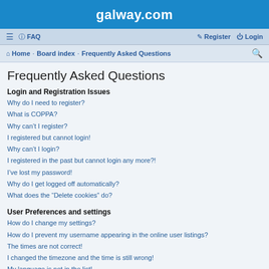galway.com
≡  FAQ   Register  Login
Home · Board index · Frequently Asked Questions
Frequently Asked Questions
Login and Registration Issues
Why do I need to register?
What is COPPA?
Why can't I register?
I registered but cannot login!
Why can't I login?
I registered in the past but cannot login any more?!
I've lost my password!
Why do I get logged off automatically?
What does the "Delete cookies" do?
User Preferences and settings
How do I change my settings?
How do I prevent my username appearing in the online user listings?
The times are not correct!
I changed the timezone and the time is still wrong!
My language is not in the list!
What are the images next to my username?